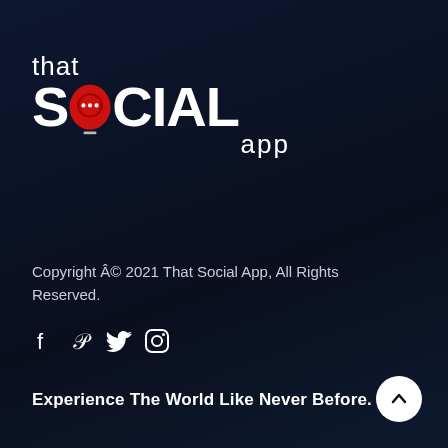[Figure (logo): That Social App logo with red map pin containing chat dots on the letter O in SOCIAL, with 'that' above in small text and 'app' below in smaller text]
Copyright Â© 2021 That Social App, All Rights Reserved.
[Figure (infographic): Social media icons: Facebook (f), Pinterest (p), Twitter (bird), Instagram (camera)]
Experience The World Like Never Before.
[Figure (other): Back to top button - white circle with upward chevron arrow]